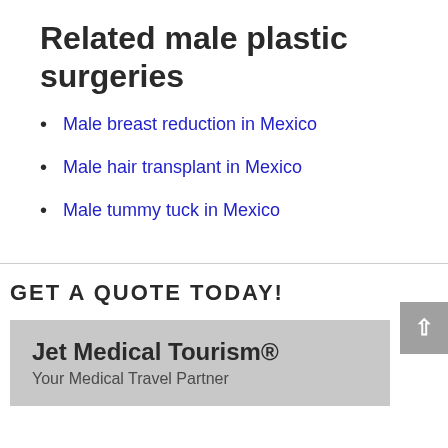Related male plastic surgeries
Male breast reduction in Mexico
Male hair transplant in Mexico
Male tummy tuck in Mexico
GET A QUOTE TODAY!
Jet Medical Tourism®
Your Medical Travel Partner